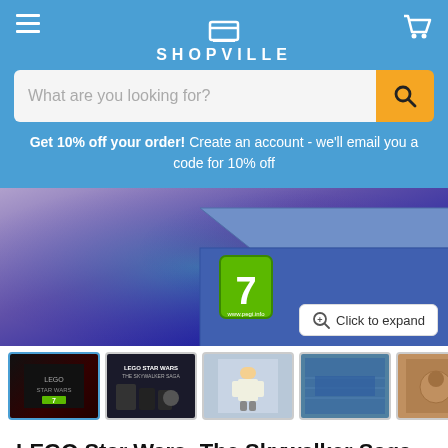SHOPVILLE
What are you looking for?
Get 10% off your order! Create an account - we'll email you a code for 10% off
[Figure (photo): LEGO Star Wars: The Skywalker Saga Deluxe Edition box product image with PEGI 7 rating badge, Disney and TT Games logos visible]
[Figure (photo): Row of product thumbnail images: front cover, full box contents, Luke Skywalker minifigure, in-game screenshot, another in-game scene; with next arrow]
LEGO Star Wars: The Skywalker Saga - Deluxe Edition [Xbox Series X / Xbox One]
by Warner Bros